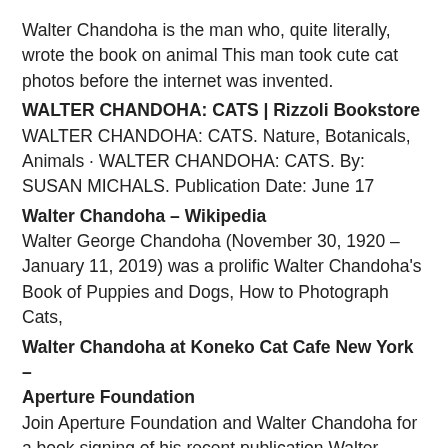Walter Chandoha is the man who, quite literally, wrote the book on animal This man took cute cat photos before the internet was invented.
WALTER CHANDOHA: CATS | Rizzoli Bookstore
WALTER CHANDOHA: CATS. Nature, Botanicals, Animals · WALTER CHANDOHA: CATS. By: SUSAN MICHALS. Publication Date: June 17
Walter Chandoha – Wikipedia
Walter George Chandoha (November 30, 1920 – January 11, 2019) was a prolific Walter Chandoha's Book of Puppies and Dogs, How to Photograph Cats,
Walter Chandoha at Koneko Cat Cafe New York – Aperture Foundation
Join Aperture Foundation and Walter Chandoha for a book signing of his recent publication Walter Chandoha: The Cat Photographer (Aperture, 2015) at
Walter Chandoha: The Cat Photographer – Amazon.com
Within the genre of commercial animal photography